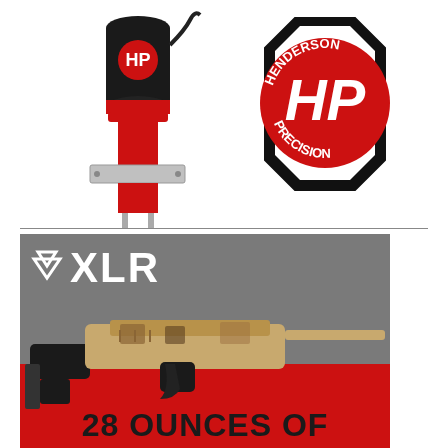[Figure (photo): Henderson Precision reloading press machine (black and red, mounted on bracket) on the left, and the Henderson Precision octagonal logo (black octagon with red HP letters and 'HENDERSON PRECISION' text) on the right, against white background.]
[Figure (photo): XLR Industries advertisement showing a rifle/chassis with camo finish and adjustable stock. Large 'XLR' text logo with red/grey background. Bottom text reads '28 OUNCES OF' in large black font on red background.]